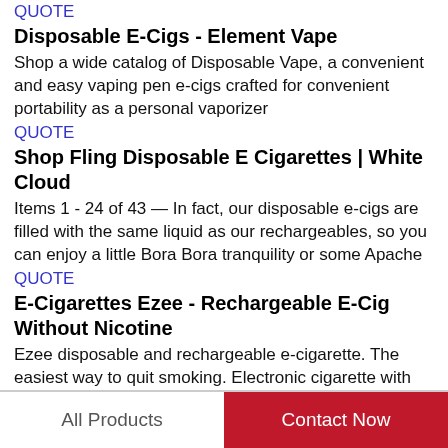QUOTE
Disposable E-Cigs - Element Vape
Shop a wide catalog of Disposable Vape, a convenient and easy vaping pen e-cigs crafted for convenient portability as a personal vaporizer
QUOTE
Shop Fling Disposable E Cigarettes | White Cloud
Items 1 - 24 of 43 — In fact, our disposable e-cigs are filled with the same liquid as our rechargeables, so you can enjoy a little Bora Bora tranquility or some Apache
QUOTE
E-Cigarettes Ezee - Rechargeable E-Cig Without Nicotine
Ezee disposable and rechargeable e-cigarette. The easiest way to quit smoking. Electronic cigarette with high quality and safety
All Products   Contact Now